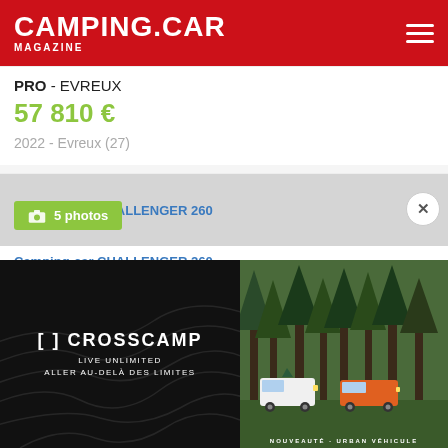CAMPING.CAR MAGAZINE
PRO - EVREUX
57 810 €
2022 - Evreux (27)
[Figure (photo): Thumbnail image for Camping-car CHALLENGER 260 listing with photo badge showing 5 photos]
Camping-car CHALLENGER 260
PRO - EVREUX
73 880 €
2022 - Evreux (27)
Camping-car SUNLIGHT T 69 LC
[Figure (photo): CROSSCAMP advertisement banner - LIVE UNLIMITED, ALLER AU-DELÀ DES LIMITES, showing camper vans in forest setting, NOUVEAUTÉ - URBAN VÉHICULE]